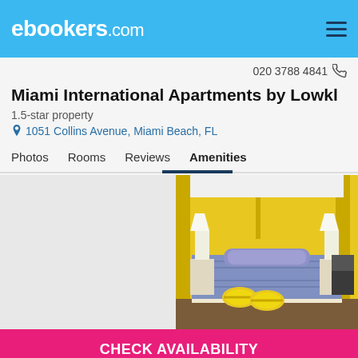ebookers.com
020 3788 4841
Miami International Apartments by Lowkl
1.5-star property
1051 Collins Avenue, Miami Beach, FL
Photos  Rooms  Reviews  Amenities
[Figure (photo): Hotel bedroom with yellow curtains, a bed with blue patterned bedspread, white bedside tables with lamps, and yellow-striped rolled towels in foreground.]
CHECK AVAILABILITY
See More